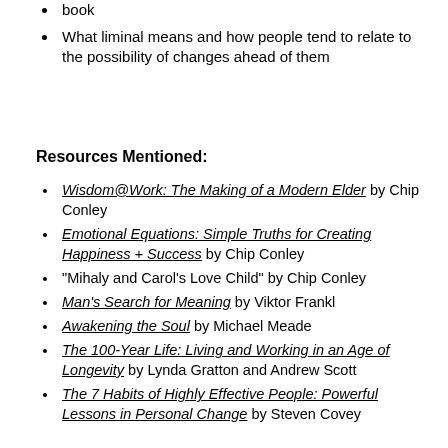book
What liminal means and how people tend to relate to the possibility of changes ahead of them
Resources Mentioned:
Wisdom@Work: The Making of a Modern Elder by Chip Conley
Emotional Equations: Simple Truths for Creating Happiness + Success by Chip Conley
“Mihaly and Carol’s Love Child” by Chip Conley
Man’s Search for Meaning by Viktor Frankl
Awakening the Soul by Michael Meade
The 100-Year Life: Living and Working in an Age of Longevity by Lynda Gratton and Andrew Scott
The 7 Habits of Highly Effective People: Powerful Lessons in Personal Change by Steven Covey